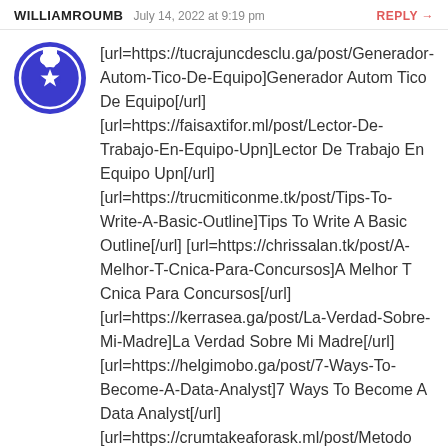WILLIAMROUMB  July 14, 2022 at 9:19 pm  REPLY →
[Figure (logo): Blue geometric avatar/logo with flower-like star pattern inside a circle]
[url=https://tucrajuncdesclu.ga/post/Generador-Autom-Tico-De-Equipo]Generador Autom Tico De Equipo[/url] [url=https://faisaxtifor.ml/post/Lector-De-Trabajo-En-Equipo-Upn]Lector De Trabajo En Equipo Upn[/url] [url=https://trucmiticonme.tk/post/Tips-To-Write-A-Basic-Outline]Tips To Write A Basic Outline[/url] [url=https://chrissalan.tk/post/A-Melhor-T-Cnica-Para-Concursos]A Melhor T Cnica Para Concursos[/url] [url=https://kerrasea.ga/post/La-Verdad-Sobre-Mi-Madre]La Verdad Sobre Mi Madre[/url] [url=https://helgimobo.ga/post/7-Ways-To-Become-A-Data-Analyst]7 Ways To Become A Data Analyst[/url] [url=https://crumtakeaforask.ml/post/Metodo…